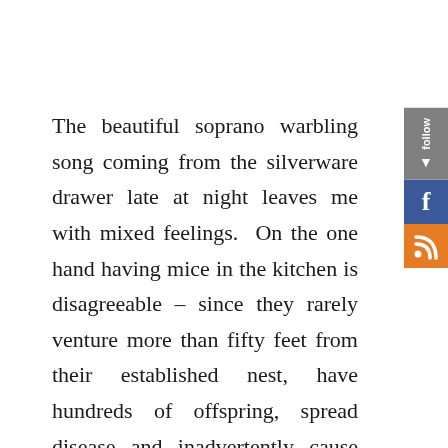The beautiful soprano warbling song coming from the silverware drawer late at night leaves me with mixed feelings.  On the one hand having mice in the kitchen is disagreeable – since they rarely venture more than fifty feet from their established nest, have hundreds of offspring, spread disease and inadvertently cause expensive damage when they nip through electrical wiring and such.  I do not blame them as they are just trying to live their lives, but when they nested in the seldom-used oven broiler, the conflagration of the nest caused a